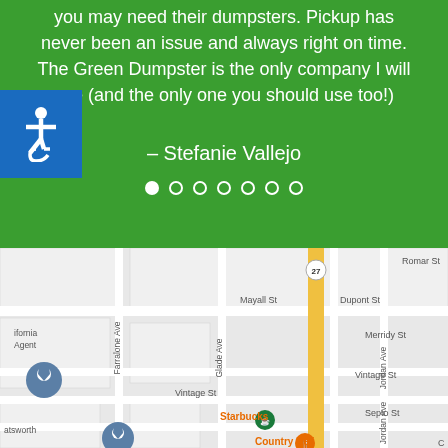you may need their dumpsters. Pickup has never been an issue and always right on time. The Green Dumpster is the only company I will use (and the only one you should use too!)
– Stefanie Vallejo
[Figure (map): Google Maps screenshot showing streets including Mayall St, Dupont St, Romar St, Merridy St, Vintage St, Septo St, Farralone Ave, Glade Ave, Jordan Ave. Shows Starbucks and Country Deli locations, with a yellow highlighted road (route 27).]